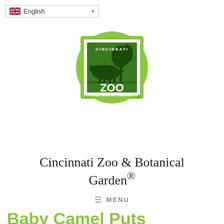English (language selector)
[Figure (logo): Cincinnati Zoo & Botanical Garden logo — green postage stamp style logo featuring a rhinoceros silhouette, a tree, and the text 'CINCINNATI ZOO & BOTANICAL GARDEN']
Cincinnati Zoo & Botanical Garden®
≡ MENU
Baby Camel Puts Cuteness Over the Hump
Posted April 25, 2012